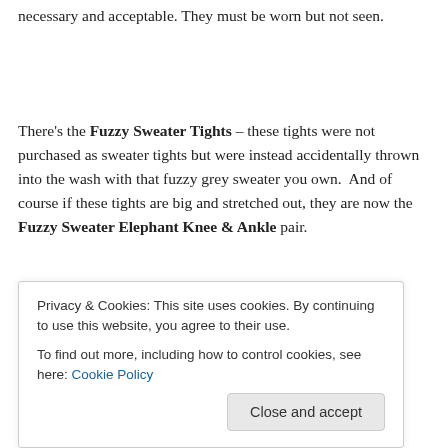necessary and acceptable. They must be worn but not seen.
There's the Fuzzy Sweater Tights – these tights were not purchased as sweater tights but were instead accidentally thrown into the wash with that fuzzy grey sweater you own.  And of course if these tights are big and stretched out, they are now the Fuzzy Sweater Elephant Knee & Ankle pair.
Privacy & Cookies: This site uses cookies. By continuing to use this website, you agree to their use.
To find out more, including how to control cookies, see here: Cookie Policy